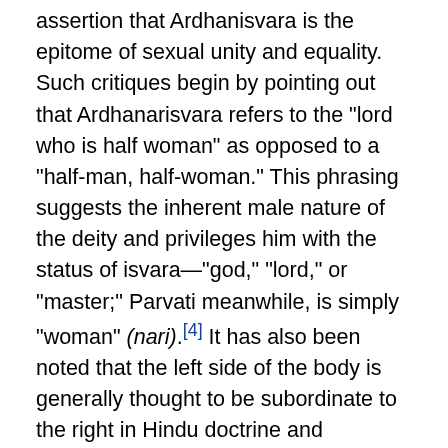assertion that Ardhanisvara is the epitome of sexual unity and equality. Such critiques begin by pointing out that Ardhanarisvara refers to the "lord who is half woman" as opposed to a "half-man, half-woman." This phrasing suggests the inherent male nature of the deity and privileges him with the status of isvara—"god," "lord," or "master;" Parvati meanwhile, is simply "woman" (nari).[4] It has also been noted that the left side of the body is generally thought to be subordinate to the right in Hindu doctrine and iconography. Thus, the male right side of Ardhanarisvara gains another token of implicit privilege over the female side.[5] Furthermore, the aforementioned concept of liberation based on union with Parasiva, towards which yogic practitioners' experience of Ardhanarisvara serves as a stepping stone, has been labeled as a male-identified variation of non-duality. As a result, Shakti's manifestation is said to be quelled entirely, and so she loses her ability to act, rendering her no different from Shiva, the inactive principle. Thus, at the